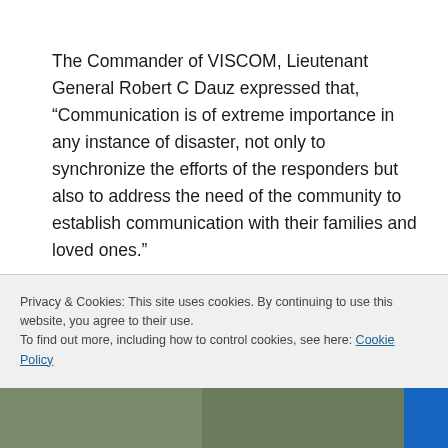The Commander of VISCOM, Lieutenant General Robert C Dauz expressed that, “Communication is of extreme importance in any instance of disaster, not only to synchronize the efforts of the responders but also to address the need of the community to establish communication with their families and loved ones.”
Privacy & Cookies: This site uses cookies. By continuing to use this website, you agree to their use.
To find out more, including how to control cookies, see here: Cookie Policy